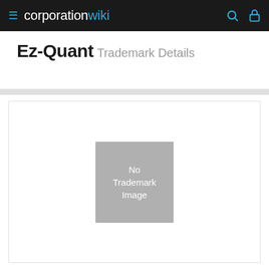≡ corporationwiki
Ez-Quant Trademark Details
[Figure (other): Gray placeholder box with text 'No Trademark Image']